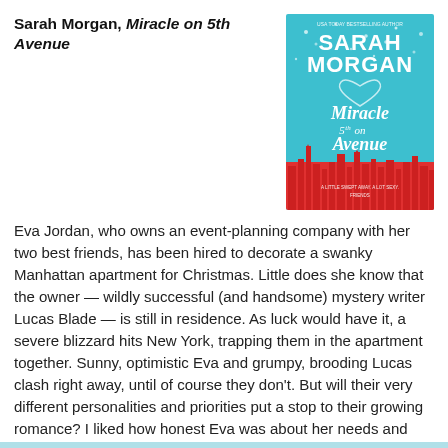Sarah Morgan, Miracle on 5th Avenue
[Figure (photo): Book cover of 'Miracle on 5th Avenue' by Sarah Morgan — teal background with NYC skyline silhouette in red, white script title text, author name at top in white]
Eva Jordan, who owns an event-planning company with her two best friends, has been hired to decorate a swanky Manhattan apartment for Christmas. Little does she know that the owner — wildly successful (and handsome) mystery writer Lucas Blade — is still in residence. As luck would have it, a severe blizzard hits New York, trapping them in the apartment together. Sunny, optimistic Eva and grumpy, brooding Lucas clash right away, until of course they don't. But will their very different personalities and priorities put a stop to their growing romance? I liked how honest Eva was about her needs and feelings, but otherwise I thought this book was just okay.